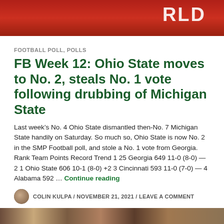[Figure (photo): Red flags/banners photo at top of page with partial white text visible]
FOOTBALL POLL, POLLS
FB Week 12: Ohio State moves to No. 2, steals No. 1 vote following drubbing of Michigan State
Last week’s No. 4 Ohio State dismantled then-No. 7 Michigan State handily on Saturday. So much so, Ohio State is now No. 2 in the SMP Football poll, and stole a No. 1 vote from Georgia. Rank Team Points Record Trend 1 25 Georgia 649 11-0 (8-0) — 2 1 Ohio State 606 10-1 (8-0) +2 3 Cincinnati 593 11-0 (7-0) — 4 Alabama 592 … Continue reading
COLIN KULPA / NOVEMBER 21, 2021 / LEAVE A COMMENT
[Figure (photo): Crowd/fans photo at bottom of page]